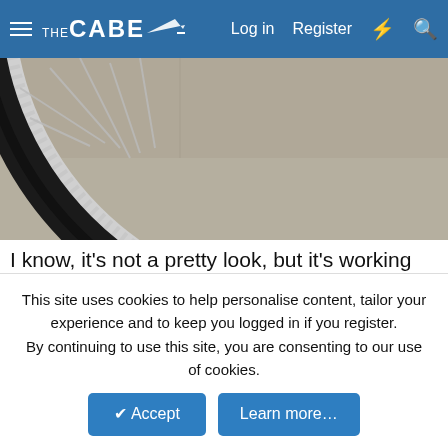THE CABE | Log in | Register
[Figure (photo): Close-up photo of a bicycle wheel/tire resting on a concrete surface, partially visible from above]
I know, it's not a pretty look, but it's working for now
razinhellcustomz, tacochris, J-wagon and 1 other person
fordmike65
This site uses cookies to help personalise content, tailor your experience and to keep you logged in if you register. By continuing to use this site, you are consenting to our use of cookies.